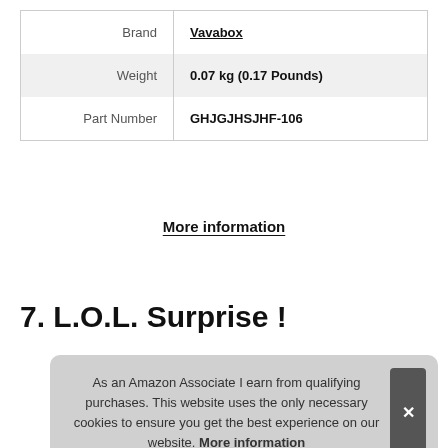|  |  |
| --- | --- |
| Brand | Vavabox |
| Weight | 0.07 kg (0.17 Pounds) |
| Part Number | GHJGJHSJHF-106 |
More information
7. L.O.L. Surprise !
As an Amazon Associate I earn from qualifying purchases. This website uses the only necessary cookies to ensure you get the best experience on our website. More information